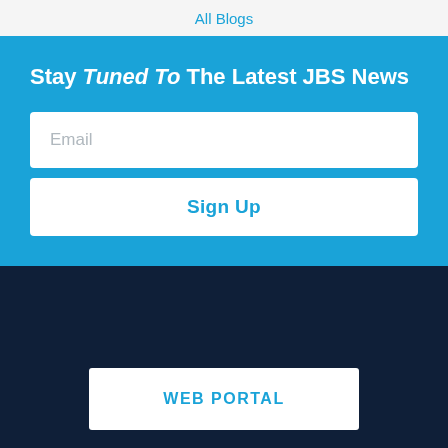All Blogs
Stay Tuned To The Latest JBS News
Email
Sign Up
WEB PORTAL